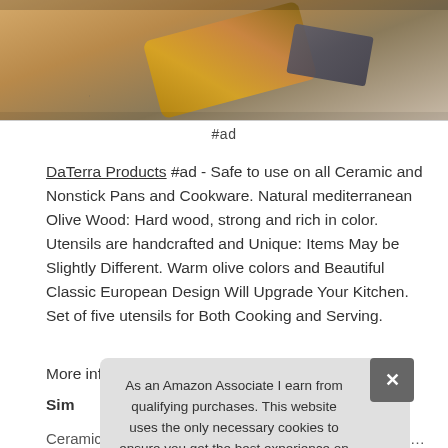[Figure (photo): Product photo showing olive wood kitchen utensils on a granite/stone surface, with yellow-brown wooden item visible from above]
#ad
DaTerra Products #ad - Safe to use on all Ceramic and Nonstick Pans and Cookware. Natural mediterranean Olive Wood: Hard wood, strong and rich in color. Utensils are handcrafted and Unique: Items May be Slightly Different. Warm olive colors and Beautiful Classic European Design Will Upgrade Your Kitchen. Set of five utensils for Both Cooking and Serving.
More information about DaTerra Products #ad
Sim
As an Amazon Associate I earn from qualifying purchases. This website uses the only necessary cookies to ensure you get the best experience on our website. More information
Ceramic 13 Wok with Natural Nonstick Coating, Lid Included -